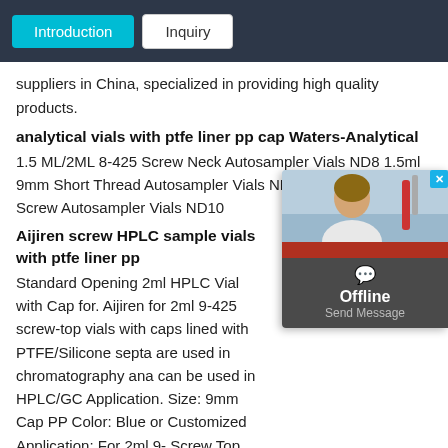Introduction | Inquiry
suppliers in China, specialized in providing high quality products.
analytical vials with ptfe liner pp cap Waters-Analytical
1.5 ML/2ML 8-425 Screw Neck Autosampler Vials ND8 1.5ml 9mm Short Thread Autosampler Vials ND9 1.5ml 10-425 Screw Autosampler Vials ND10
Aijiren screw HPLC sample vials with ptfe liner pp
Standard Opening 2ml HPLC Vial with Cap for. Aijiren for 2ml 9-425 screw-top vials with caps lined with PTFE/Silicone septa are used in chromatography ana can be used in HPLC/GC Application. Size: 9mm Cap PP Color: Blue or Customized Application: For 2ml 9- Screw Top. Chat Now.
[Figure (photo): Offline chat widget showing a person in a lab coat with an 'Offline / Send Message' popup overlay]
Aijiren septa cap for 1.5ml vials-Aijiren HPLC Vials
1.5ml Hplc Vial Cap With Septa Protect Liquids-Aijiren 2ml Shimadzu hplc vial inserts for sample vials-Aijiren HPLC Vials